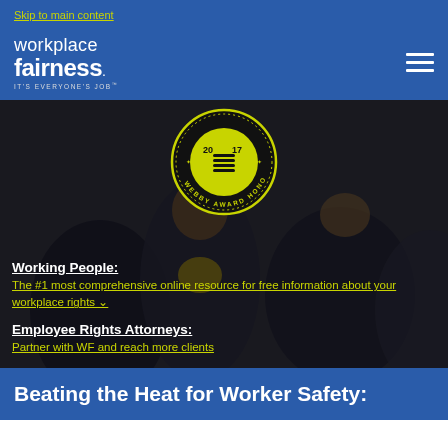Skip to main content
[Figure (logo): Workplace Fairness logo - white text on blue background with tagline IT'S EVERYONE'S JOB]
[Figure (photo): Hero image of working professionals in an office setting with a 2017 Webby Award Honoree badge overlay]
Working People: The #1 most comprehensive online resource for free information about your workplace rights
Employee Rights Attorneys: Partner with WF and reach more clients
Beating the Heat for Worker Safety: